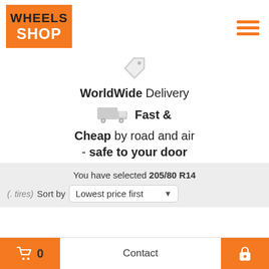[Figure (logo): Wheels Shop logo: orange rectangle background with 'WHEELS' in dark text and 'SHOP' in white text on orange]
[Figure (illustration): Hamburger menu icon with three orange horizontal bars]
[Figure (illustration): Light grey price tag icon]
WorldWide Delivery
[Figure (illustration): Grey delivery truck icon]
Fast &
Cheap by road and air
- safe to your door
You have selected 205/80 R14
(. tires) Sort by Lowest price first
0  Contact